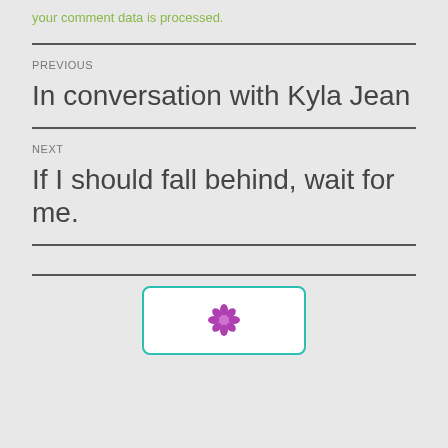your comment data is processed.
PREVIOUS
In conversation with Kyla Jean
NEXT
If I should fall behind, wait for me.
[Figure (illustration): A teal-bordered card with a purple flower icon]